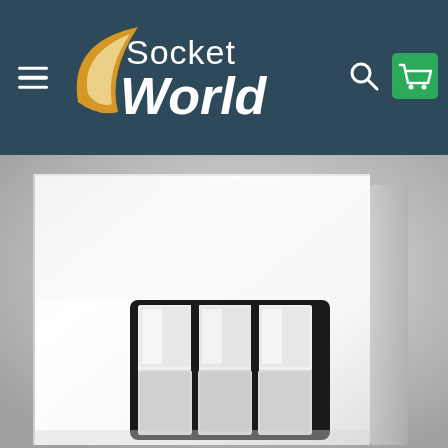Socket World - navigation header with logo, hamburger menu, search and cart icons
[Figure (photo): Close-up product photo of a three-gang light switch on a white chrome faceplate. The switch has three polished chrome rocker buttons with black trim surround, mounted on a bright white square screwless plate against a light grey gradient background.]